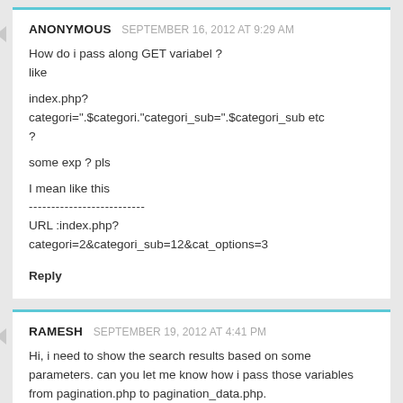ANONYMOUS  SEPTEMBER 16, 2012 AT 9:29 AM
How do i pass along GET variabel ?
like

index.php?
categori=".$categori."categori_sub=".$categori_sub etc
?

some exp ? pls

I mean like this
--------------------------
URL :index.php?
categori=2&categori_sub=12&cat_options=3

Reply
RAMESH  SEPTEMBER 19, 2012 AT 4:41 PM
Hi, i need to show the search results based on some parameters. can you let me know how i pass those variables from pagination.php to pagination_data.php.